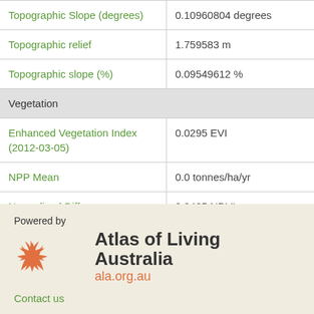| Property | Value |
| --- | --- |
| Topographic Slope (degrees) | 0.10960804 degrees |
| Topographic relief | 1.759583 m |
| Topographic slope (%) | 0.09549612 % |
| Vegetation |  |
| Enhanced Vegetation Index (2012-03-05) | 0.0295 EVI |
| NPP Mean | 0.0 tonnes/ha/yr |
| Normalized Difference Vegetation Index (2012-03-05) | 0.0425 NDVI |
[Figure (logo): Atlas of Living Australia logo with stylized star/arrow shape and text 'Atlas of Living Australia' and URL 'ala.org.au']
Powered by
Contact us